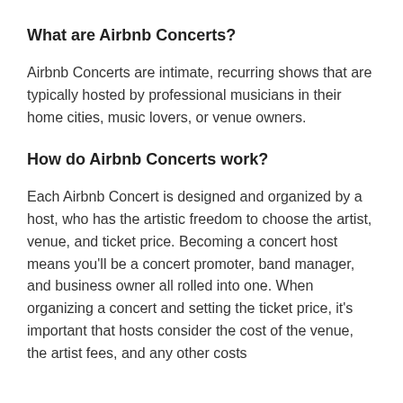What are Airbnb Concerts?
Airbnb Concerts are intimate, recurring shows that are typically hosted by professional musicians in their home cities, music lovers, or venue owners.
How do Airbnb Concerts work?
Each Airbnb Concert is designed and organized by a host, who has the artistic freedom to choose the artist, venue, and ticket price. Becoming a concert host means you'll be a concert promoter, band manager, and business owner all rolled into one. When organizing a concert and setting the ticket price, it's important that hosts consider the cost of the venue, the artist fees, and any other costs